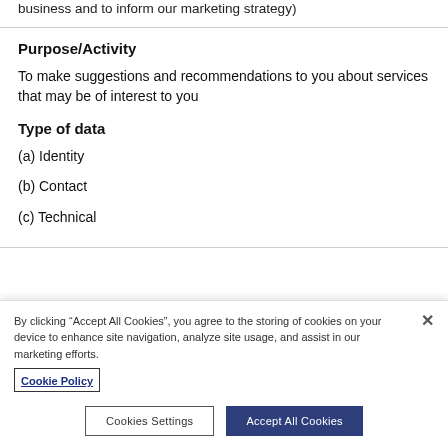business and to inform our marketing strategy)
Purpose/Activity
To make suggestions and recommendations to you about services that may be of interest to you
Type of data
(a) Identity
(b) Contact
(c) Technical
By clicking “Accept All Cookies”, you agree to the storing of cookies on your device to enhance site navigation, analyze site usage, and assist in our marketing efforts.
Cookie Policy
Cookies Settings
Accept All Cookies